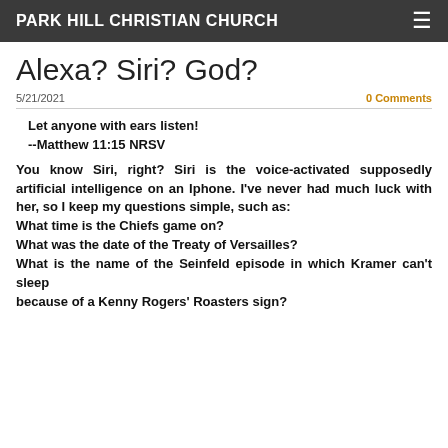PARK HILL CHRISTIAN CHURCH
Alexa? Siri? God?
5/21/2021
0 Comments
Let anyone with ears listen!
--Matthew 11:15 NRSV
You know Siri, right? Siri is the voice-activated supposedly artificial intelligence on an Iphone. I've never had much luck with her, so I keep my questions simple, such as:
What time is the Chiefs game on?
What was the date of the Treaty of Versailles?
What is the name of the Seinfeld episode in which Kramer can't sleep because of a Kenny Rogers' Roasters sign?